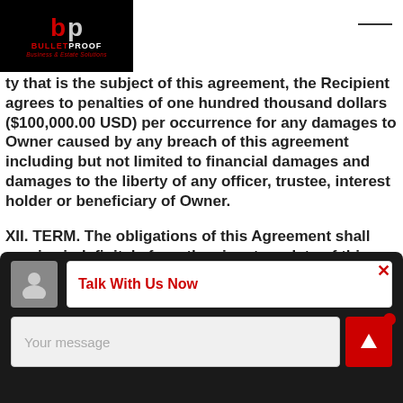[Figure (logo): Bulletproof Business & Estate Solutions logo on black background]
...ty that is the subject of this agreement, the Recipient agrees to penalties of one hundred thousand dollars ($100,000.00 USD) per occurrence for any damages to Owner caused by any breach of this agreement including but not limited to financial damages and damages to the liberty of any officer, trustee, interest holder or beneficiary of Owner.
XII. TERM. The obligations of this Agreement shall survive indefinitely from the signature date of this Agreement or until the Owner sends the Recipient written notice releasing the Recipient from this Agreement. After that, the Recipient must continue to protect the Confidential Information that was received during the
[Figure (screenshot): Live chat widget overlay with 'Talk With Us Now' header, avatar icon, message input field, send button, and close (x) button]